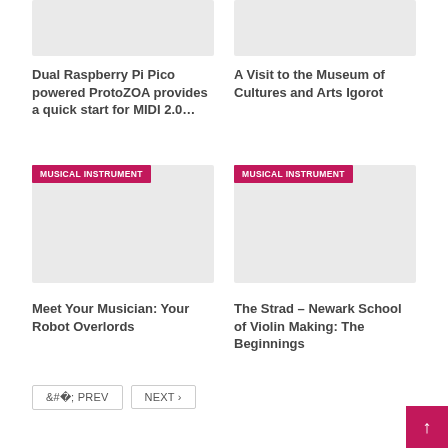[Figure (photo): Placeholder image for article top-left]
[Figure (photo): Placeholder image for article top-right]
Dual Raspberry Pi Pico powered ProtoZOA provides a quick start for MIDI 2.0…
A Visit to the Museum of Cultures and Arts Igorot
[Figure (photo): Placeholder image with MUSICAL INSTRUMENT badge, bottom-left]
[Figure (photo): Placeholder image with MUSICAL INSTRUMENT badge, bottom-right]
Meet Your Musician: Your Robot Overlords
The Strad – Newark School of Violin Making: The Beginnings
< PREV
NEXT >